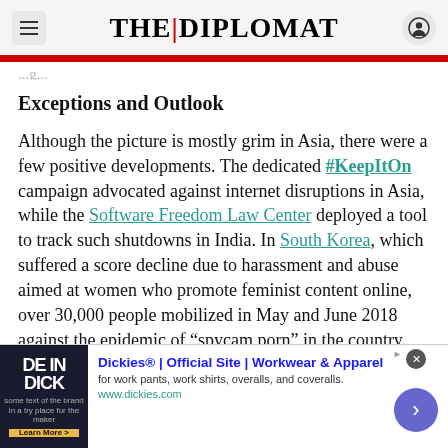THE|DIPLOMAT
Exceptions and Outlook
Although the picture is mostly grim in Asia, there were a few positive developments. The dedicated #KeepItOn campaign advocated against internet disruptions in Asia, while the Software Freedom Law Center deployed a tool to track such shutdowns in India. In South Korea, which suffered a score decline due to harassment and abuse aimed at women who promote feminist content online, over 30,000 people mobilized in May and June 2018 against the epidemic of “spycam porn” in the country. Finally, in Malaysia, a new government the
[Figure (screenshot): Advertisement banner for Dickies workwear at the bottom of the page]